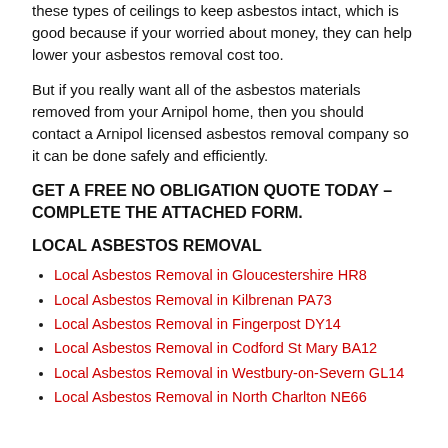these types of ceilings to keep asbestos intact, which is good because if your worried about money, they can help lower your asbestos removal cost too.
But if you really want all of the asbestos materials removed from your Arnipol home, then you should contact a Arnipol licensed asbestos removal company so it can be done safely and efficiently.
GET A FREE NO OBLIGATION QUOTE TODAY – COMPLETE THE ATTACHED FORM.
LOCAL ASBESTOS REMOVAL
Local Asbestos Removal in Gloucestershire HR8
Local Asbestos Removal in Kilbrenan PA73
Local Asbestos Removal in Fingerpost DY14
Local Asbestos Removal in Codford St Mary BA12
Local Asbestos Removal in Westbury-on-Severn GL14
Local Asbestos Removal in North Charlton NE66